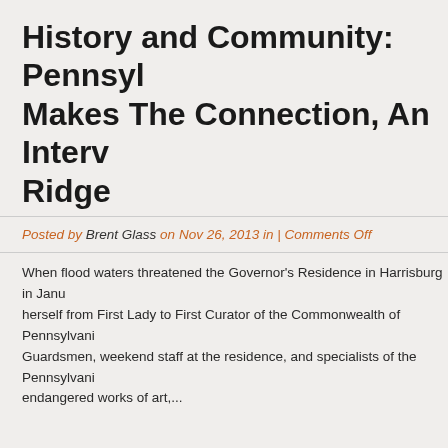History and Community: Pennsylvania Makes The Connection, An Interview with Ridge
Posted by Brent Glass on Nov 26, 2013 in | Comments Off
When flood waters threatened the Governor's Residence in Harrisburg in January herself from First Lady to First Curator of the Commonwealth of Pennsylvania Guardsmen, weekend staff at the residence, and specialists of the Pennsylvania endangered works of art,...
Bookshelf
Posted by PA Heritage Staff on Nov 26, 2013 in | Comments Off
Charles Sheeler in Doylestown: American Modernism and the Pennsylvania T (120 pages, paper, $30.00) This remarkable book traces the development of an familiar theme, the Bucks County barn. Charles Sheeler (1883-1965) was b...